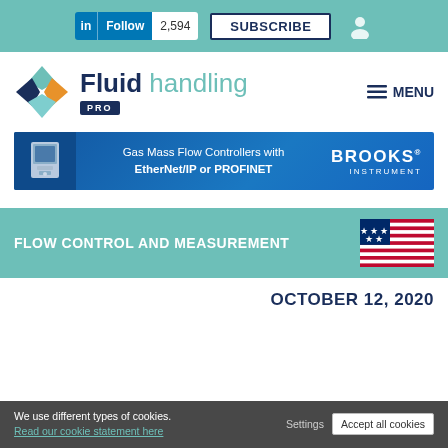in Follow 2,594 | SUBSCRIBE
[Figure (logo): Fluid handling PRO logo with diamond icon]
MENU
[Figure (infographic): Brooks Instrument ad banner: Gas Mass Flow Controllers with EtherNet/IP or PROFINET]
FLOW CONTROL AND MEASUREMENT
OCTOBER 12, 2020
We use different types of cookies. Read our cookie statement here Settings Accept all cookies